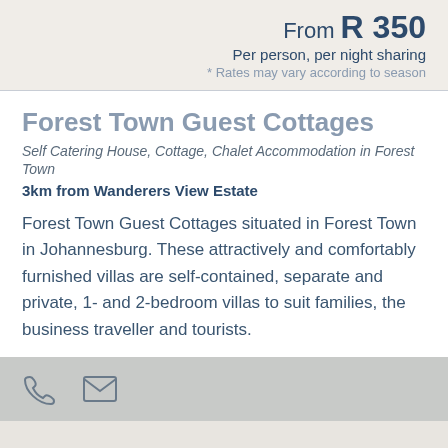From R 350
Per person, per night sharing
* Rates may vary according to season
Forest Town Guest Cottages
Self Catering House, Cottage, Chalet Accommodation in Forest Town
3km from Wanderers View Estate
Forest Town Guest Cottages situated in Forest Town in Johannesburg. These attractively and comfortably furnished villas are self-contained, separate and private, 1- and 2-bedroom villas to suit families, the business traveller and tourists.
[Figure (other): Phone and email contact icons in a grey bar]